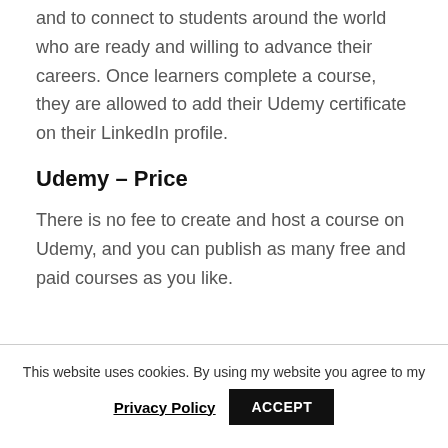and to connect to students around the world who are ready and willing to advance their careers. Once learners complete a course, they are allowed to add their Udemy certificate on their LinkedIn profile.
Udemy – Price
There is no fee to create and host a course on Udemy, and you can publish as many free and paid courses as you like.
This website uses cookies. By using my website you agree to my Privacy Policy ACCEPT